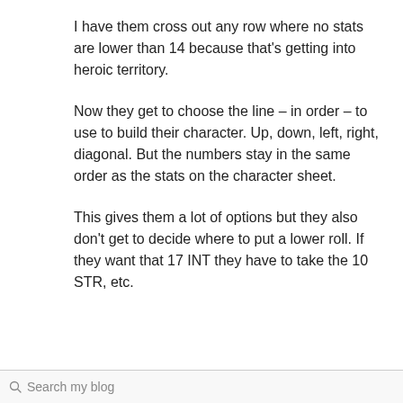I have them cross out any row where no stats are lower than 14 because that's getting into heroic territory.
Now they get to choose the line – in order – to use to build their character. Up, down, left, right, diagonal. But the numbers stay in the same order as the stats on the character sheet.
This gives them a lot of options but they also don't get to decide where to put a lower roll. If they want that 17 INT they have to take the 10 STR, etc.
Search my blog